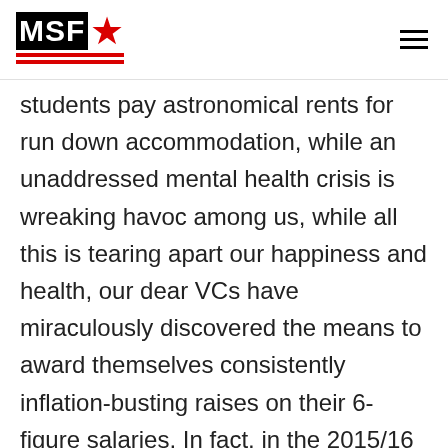MSF (logo with star)
students pay astronomical rents for run down accommodation, while an unaddressed mental health crisis is wreaking havoc among us, while all this is tearing apart our happiness and health, our dear VCs have miraculously discovered the means to award themselves consistently inflation-busting raises on their 6-figure salaries. In fact, in the 2015/16 academic year, 23 VCs received 10% raises, which, on the basis of an average VC pay, could just